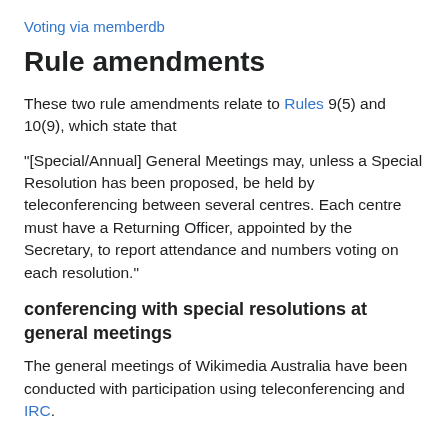Voting via memberdb
Rule amendments
These two rule amendments relate to Rules 9(5) and 10(9), which state that
"[Special/Annual] General Meetings may, unless a Special Resolution has been proposed, be held by teleconferencing between several centres. Each centre must have a Returning Officer, appointed by the Secretary, to report attendance and numbers voting on each resolution."
conferencing with special resolutions at general meetings
The general meetings of Wikimedia Australia have been conducted with participation using teleconferencing and IRC.